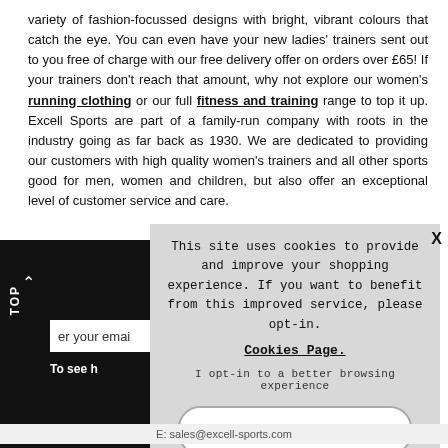variety of fashion-focussed designs with bright, vibrant colours that catch the eye. You can even have your new ladies' trainers sent out to you free of charge with our free delivery offer on orders over £65! If your trainers don't reach that amount, why not explore our women's running clothing or our full fitness and training range to top it up. Excell Sports are part of a family-run company with roots in the industry going as far back as 1930. We are dedicated to providing our customers with high quality women's trainers and all other sports good for men, women and children, but also offer an exceptional level of customer service and care.
[Figure (screenshot): Cookie consent popup overlay on a retail website showing cookie notice and accept button, with partially visible email signup bar and dark background elements]